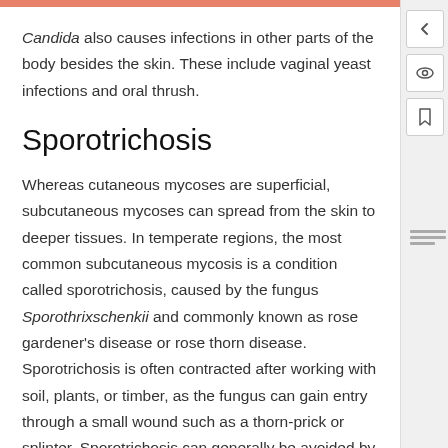Candida also causes infections in other parts of the body besides the skin. These include vaginal yeast infections and oral thrush.
Sporotrichosis
Whereas cutaneous mycoses are superficial, subcutaneous mycoses can spread from the skin to deeper tissues. In temperate regions, the most common subcutaneous mycosis is a condition called sporotrichosis, caused by the fungus Sporothrixschenkii and commonly known as rose gardener's disease or rose thorn disease. Sporotrichosis is often contracted after working with soil, plants, or timber, as the fungus can gain entry through a small wound such as a thorn-prick or splinter. Sporotrichosis can generally be avoided by wearing gloves and protective clothing while gardening and promptly cleaning and disinfecting any wounds sustained during outdoor